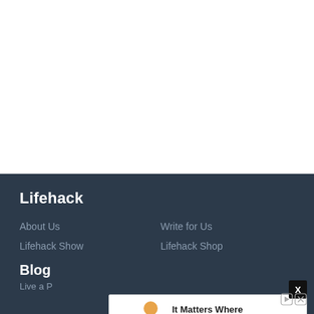[Figure (other): White blank area at top of page]
Lifehack
About Us
Write for Us
Lifehack Show
Lifehack Shop
Blog
Live a P...
[Figure (screenshot): Advertisement banner: 'It Matters Where You Stay' - Hilton hotel ad with luggage illustration and 'Book Now' button. Ad label shown, with X close button in upper right.]